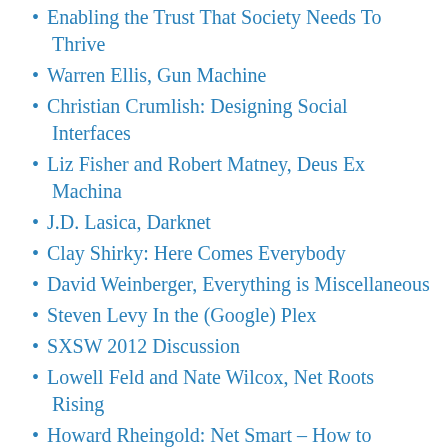Enabling the Trust That Society Needs To Thrive
Warren Ellis, Gun Machine
Christian Crumlish: Designing Social Interfaces
Liz Fisher and Robert Matney, Deus Ex Machina
J.D. Lasica, Darknet
Clay Shirky: Here Comes Everybody
David Weinberger, Everything is Miscellaneous
Steven Levy In the (Google) Plex
SXSW 2012 Discussion
Lowell Feld and Nate Wilcox, Net Roots Rising
Howard Rheingold: Net Smart – How to